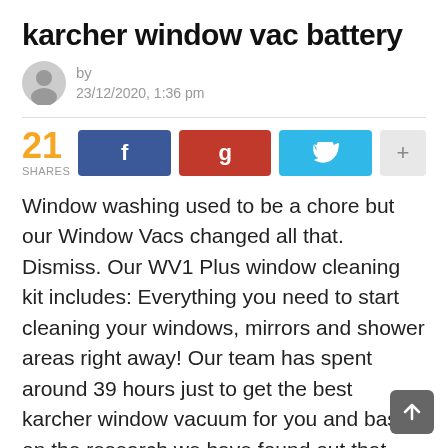karcher window vac battery
by
23/12/2020, 1:36 pm
[Figure (infographic): Social share bar showing 21 shares, with Facebook, Google+, Twitter, and plus buttons]
Window washing used to be a chore but our Window Vacs changed all that. Dismiss. Our WV1 Plus window cleaning kit includes: Everything you need to start cleaning your windows, mirrors and shower areas right away! Our team has spent around 39 hours just to get the best karcher window vacuum for you and based on the research we have found out that Karcher 6.654-353.0 Window Vac 120V … Karcher